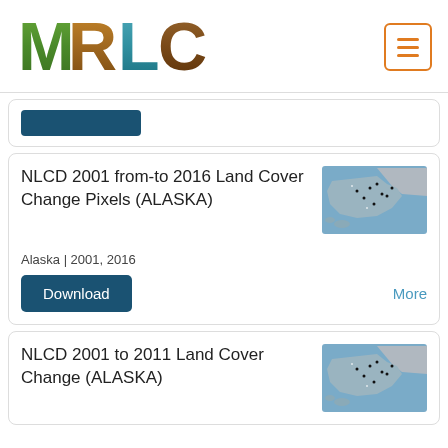[Figure (logo): MRLC logo with nature-themed letters and hamburger menu button]
NLCD 2001 from-to 2016 Land Cover Change Pixels (ALASKA)
[Figure (map): Alaska map thumbnail with blue water and land cover change pixels]
Alaska | 2001, 2016
Download
More
NLCD 2001 to 2011 Land Cover Change (ALASKA)
[Figure (map): Alaska map thumbnail with blue water and land cover change]